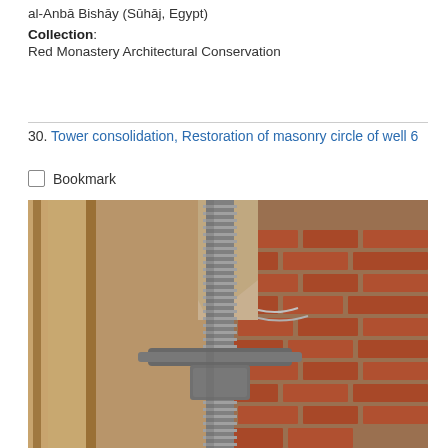al-Anbā Bishāy (Sūhāj, Egypt)
Collection: Red Monastery Architectural Conservation
30. Tower consolidation, Restoration of masonry circle of well 6
Bookmark
[Figure (photo): Close-up photograph of a large metal threaded bolt/screw mechanism (possibly a clamp or structural consolidation device) positioned against a partially deteriorated masonry wall made of brick and mortar. Wooden supports are visible on the left side. The image relates to masonry conservation work at the Red Monastery.]